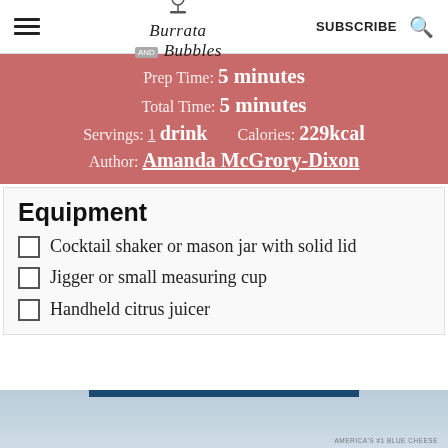Burrata and Bubbles — SUBSCRIBE
Prep Time: 5 minutes
Total Time: 5 minutes
Servings: 1 drink  Calories: 229kcal
Author: Amanda McGrory-Dixon
Equipment
Cocktail shaker or mason jar with solid lid
Jigger or small measuring cup
Handheld citrus juicer
[Figure (photo): Bottom portion of a food/drink image with blue header bar and light blue background, partially visible]